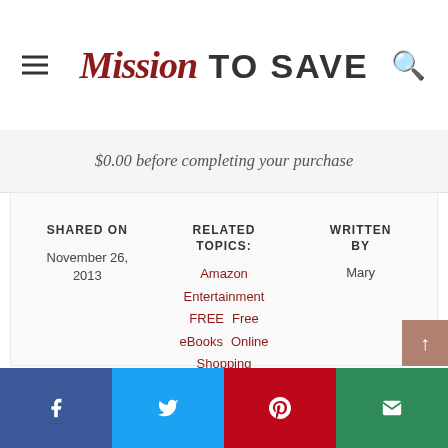Mission TO SAVE
$0.00 before completing your purchase
SHARED ON
November 26, 2013
RELATED TOPICS:
Amazon
Entertainment
FREE Free eBooks Online Shopping
WRITTEN BY
Mary
Share buttons: Facebook, Twitter, Pinterest, Email